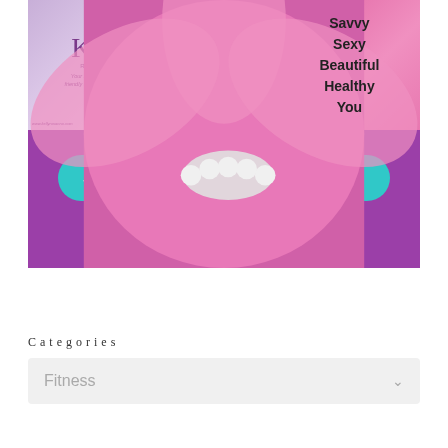[Figure (infographic): Wellness/lifestyle promotional banner for Kelly Rosanno. Three-panel top section: left panel shows cursive 'Kelly' logo with tagline 'Your soulful coach for eco friendly living, organic beauty & wellness'; center panel shows photo of a smiling woman; right panel shows pink flower background with text 'Savvy Sexy Beautiful Healthy You'. Bottom purple section has a teal rounded button with text 'Join my FREE Facebook group TODAY!' and testimonial text 'I feel so empowered now thanks to Kelly!']
Categories
Fitness